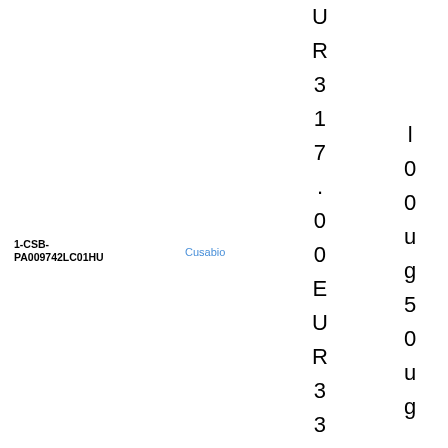1-CSB-PA009742LC01HU
Cusabio
UR317.00EUR335.
l00ug50ug